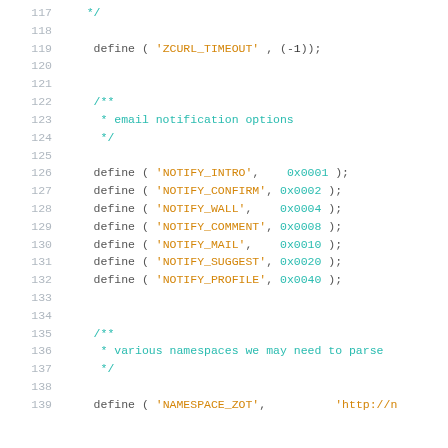117     */
118
119     define ( 'ZCURL_TIMEOUT' , (-1));
120
121
122     /**
123      * email notification options
124      */
125
126     define ( 'NOTIFY_INTRO',    0x0001 );
127     define ( 'NOTIFY_CONFIRM', 0x0002 );
128     define ( 'NOTIFY_WALL',    0x0004 );
129     define ( 'NOTIFY_COMMENT', 0x0008 );
130     define ( 'NOTIFY_MAIL',    0x0010 );
131     define ( 'NOTIFY_SUGGEST', 0x0020 );
132     define ( 'NOTIFY_PROFILE', 0x0040 );
133
134
135     /**
136      * various namespaces we may need to parse
137      */
138
139     define ( 'NAMESPACE_ZOT',          'http://n